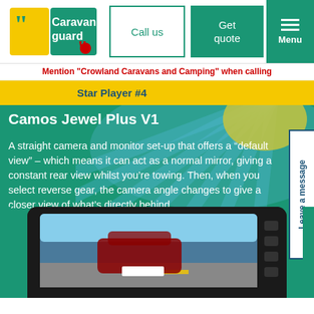[Figure (logo): Caravan Guard logo with quotation mark icons in red/yellow/green]
Call us
Get quote
Menu
Mention "Crowland Caravans and Camping" when calling
Star Player #4
Camos Jewel Plus V1
A straight camera and monitor set-up that offers a “default view” – which means it can act as a normal mirror, giving a constant rear view whilst you’re towing. Then, when you select reverse gear, the camera angle changes to give a closer view of what’s directly behind.
[Figure (photo): Rear-view mirror camera monitor showing a car reversing in a car park]